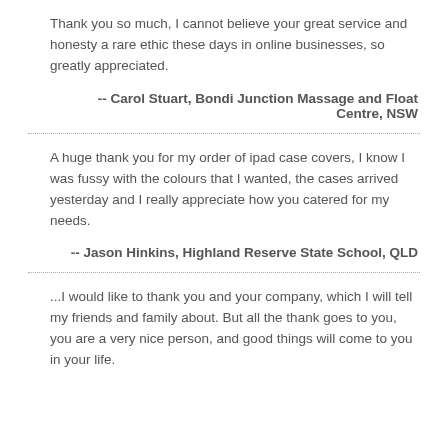Thank you so much, I cannot believe your great service and honesty a rare ethic these days in online businesses, so greatly appreciated.
-- Carol Stuart, Bondi Junction Massage and Float Centre, NSW
A huge thank you for my order of ipad case covers, I know I was fussy with the colours that I wanted, the cases arrived yesterday and I really appreciate how you catered for my needs.
-- Jason Hinkins, Highland Reserve State School, QLD
...I would like to thank you and your company, which I will tell my friends and family about. But all the thank goes to you, you are a very nice person, and good things will come to you in your life.